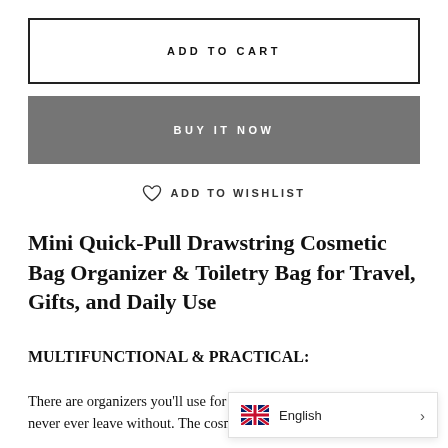ADD TO CART
BUY IT NOW
ADD TO WISHLIST
Mini Quick-Pull Drawstring Cosmetic Bag Organizer & Toiletry Bag for Travel, Gifts, and Daily Use
MULTIFUNCTIONAL & PRACTICAL:
There are organizers you'll use for one tri... ever leave without. The cosmetic bag organizer will quickly